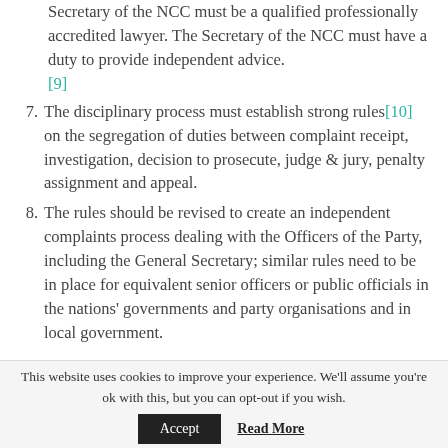Secretary of the NCC must be a qualified professionally accredited lawyer. The Secretary of the NCC must have a duty to provide independent advice. [9]
7. The disciplinary process must establish strong rules[10] on the segregation of duties between complaint receipt, investigation, decision to prosecute, judge & jury, penalty assignment and appeal.
8. The rules should be revised to create an independent complaints process dealing with the Officers of the Party, including the General Secretary; similar rules need to be in place for equivalent senior officers or public officials in the nations' governments and party organisations and in local government.
This website uses cookies to improve your experience. We'll assume you're ok with this, but you can opt-out if you wish.